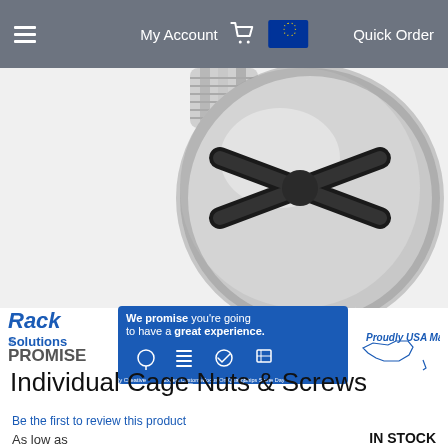My Account  Quick Order
[Figure (photo): Close-up photo of a silver/chrome screw head with Phillips cross-head drive, viewed from above at slight angle, showing metallic finish]
[Figure (infographic): Rack Solutions Promise banner: text 'We promise you're going to have a great experience.' with icons for Boldly Creative, Expert Customer Service, Focus On Quality, Ships Same Day. USA outline shape with 'Proudly USA Made' text.]
Individual Cage Nuts & Screws
Be the first to review this product
As low as
IN STOCK